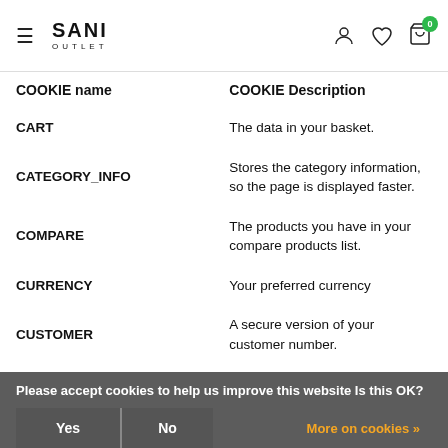SANI OUTLET
| COOKIE name | COOKIE Description |
| --- | --- |
| CART | The data in your basket. |
| CATEGORY_INFO | Stores the category information, so the page is displayed faster. |
| COMPARE | The products you have in your compare products list. |
| CURRENCY | Your preferred currency |
| CUSTOMER | A secure version of your customer number. |
| CUSTOMER_AUTH | An indicator whether you are logged in. |
| CUSTOMER_INFO | A secure version of your customer group ID. |
| CUSTOMER_SEGMENT_IDS | Saves your customer group ID. |
| EXTERNAL_NO_CACHE | A notification or your cache or |
Please accept cookies to help us improve this website Is this OK? Yes No More on cookies »